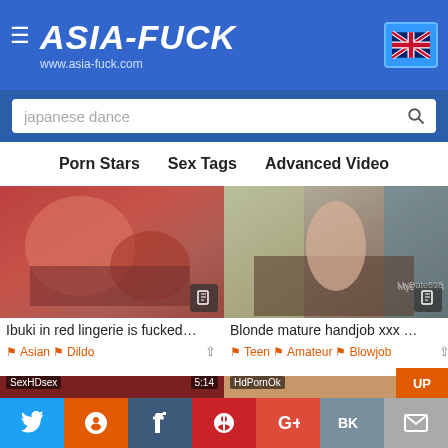ASIA-FUCK www.asia-fuck.com
japanese dance
Porn Stars  Sex Tags  Advanced Video
[Figure (photo): Video thumbnail: woman in red lingerie]
Ibuki in red lingerie is fucked…
Asian  Dildo
[Figure (photo): Video thumbnail: blonde mature woman]
Blonde mature handjob xxx …
Teen  Amateur  Blowjob
[Figure (photo): Video thumbnail: SexHDsex 5:14]
[Figure (photo): Video thumbnail: HdPornOk 10:36]